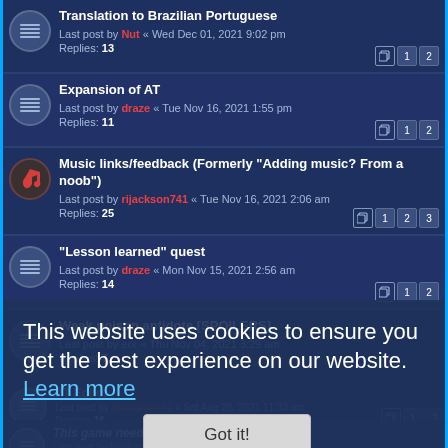Translation to Brazilian Portuguese
Last post by Nut « Wed Dec 01, 2021 9:02 pm
Replies: 13
Expansion of AT
Last post by draze « Tue Nov 16, 2021 1:55 pm
Replies: 11
Music links/feedback (Formerly "Adding music? From a noob")
Last post by rijackson741 « Tue Nov 16, 2021 2:06 am
Replies: 25
"Lesson learned" quest
Last post by draze « Mon Nov 15, 2021 2:56 am
Replies: 14
Weak poison antidote [SPOILERS]
Last post by eor « Thu Nov 04, 2021 3:29 am
Replies: 7
Wands
Replies: 13
AT Editor
Last post by rijackson741 « Sat Aug 28, 2021 11:33 am
Replies: 16
This game needs to be totally rebalanced
Last post by Nocturne « Mon Jul 05, 2021 2:17 pm
Replies: 19
This website uses cookies to ensure you get the best experience on our website. Learn more
Got it!